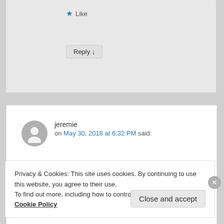★ Like
Reply ↓
jeremie on May 30, 2018 at 6:32 PM said:
I am just curious if you are doing meat/water only + coffee or if you have some dairy products included (butter, etc)
★ Like
Privacy & Cookies: This site uses cookies. By continuing to use this website, you agree to their use.
To find out more, including how to control cookies, see here: Cookie Policy
Close and accept